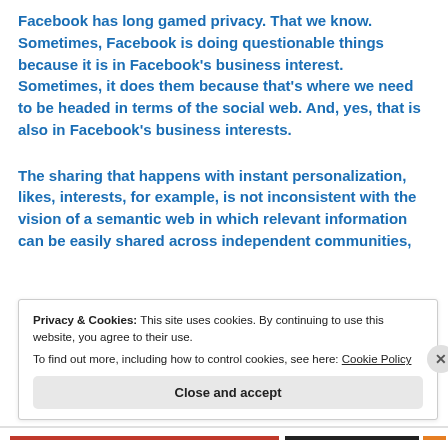Facebook has long gamed privacy. That we know. Sometimes, Facebook is doing questionable things because it is in Facebook's business interest. Sometimes, it does them because that's where we need to be headed in terms of the social web. And, yes, that is also in Facebook's business interests.
The sharing that happens with instant personalization, likes, interests, for example, is not inconsistent with the vision of a semantic web in which relevant information can be easily shared across independent communities,
Privacy & Cookies: This site uses cookies. By continuing to use this website, you agree to their use.
To find out more, including how to control cookies, see here: Cookie Policy